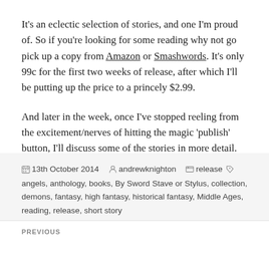It's an eclectic selection of stories, and one I'm proud of. So if you're looking for some reading why not go pick up a copy from Amazon or Smashwords. It's only 99c for the first two weeks of release, after which I'll be putting up the price to a princely $2.99.
And later in the week, once I've stopped reeling from the excitement/nerves of hitting the magic 'publish' button, I'll discuss some of the stories in more detail.
13th October 2014  andrewknighton  release  angels, anthology, books, By Sword Stave or Stylus, collection, demons, fantasy, high fantasy, historical fantasy, Middle Ages, reading, release, short story
PREVIOUS